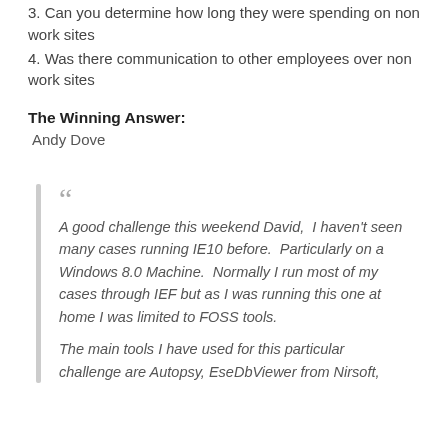3. Can you determine how long they were spending on non work sites
4. Was there communication to other employees over non work sites
The Winning Answer:
Andy Dove
A good challenge this weekend David,  I haven't seen many cases running IE10 before.  Particularly on a Windows 8.0 Machine.  Normally I run most of my cases through IEF but as I was running this one at home I was limited to FOSS tools.
The main tools I have used for this particular challenge are Autopsy, EseDbViewer from Nirsoft,